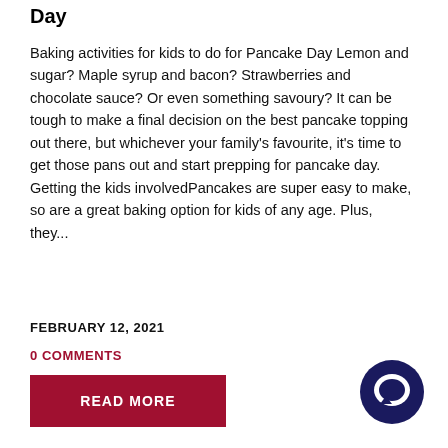Day
Baking activities for kids to do for Pancake Day Lemon and sugar? Maple syrup and bacon? Strawberries and chocolate sauce? Or even something savoury? It can be tough to make a final decision on the best pancake topping out there, but whichever your family's favourite, it's time to get those pans out and start prepping for pancake day. Getting the kids involvedPancakes are super easy to make, so are a great baking option for kids of any age. Plus, they...
FEBRUARY 12, 2021
0 COMMENTS
READ MORE
[Figure (other): Dark navy blue circular chat/speech bubble icon in bottom right corner]